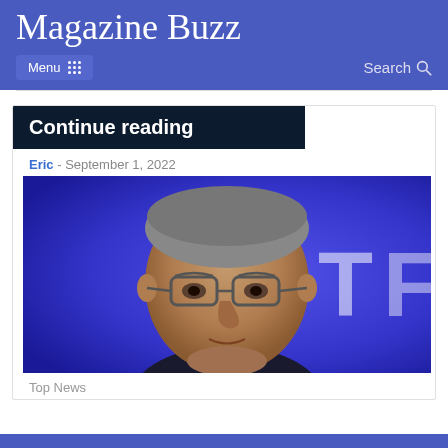Magazine Buzz
Menu  Search
Continue reading
Eric  -  September 1, 2022
[Figure (photo): Close-up photo of a middle-aged man with glasses and grey hair against a blue background with partial white lettering 'T F' visible]
Top News